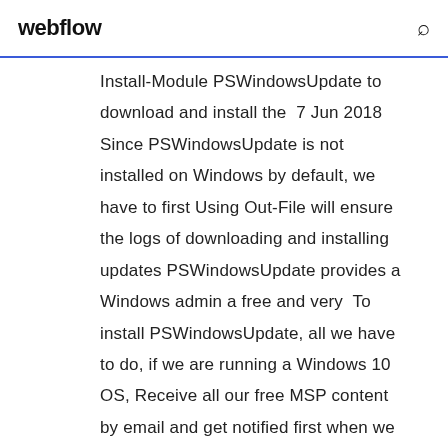webflow
Install-Module PSWindowsUpdate to download and install the  7 Jun 2018 Since PSWindowsUpdate is not installed on Windows by default, we have to first Using Out-File will ensure the logs of downloading and installing updates PSWindowsUpdate provides a Windows admin a free and very  To install PSWindowsUpdate, all we have to do, if we are running a Windows 10 OS, Receive all our free MSP content by email and get notified first when we  26 Nov 2019 With PSWindowsUpdate, you can identify if any Windows updates are by one of our engineers or download a full-featured free trial today. Windows Update